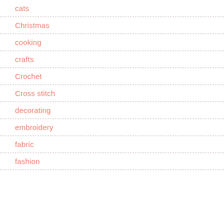cats
Christmas
cooking
crafts
Crochet
Cross stitch
decorating
embroidery
fabric
fashion